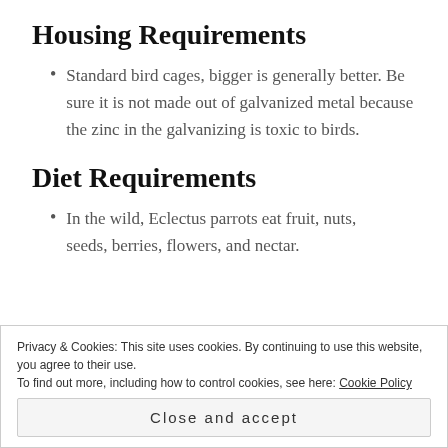Housing Requirements
Standard bird cages, bigger is generally better. Be sure it is not made out of galvanized metal because the zinc in the galvanizing is toxic to birds.
Diet Requirements
In the wild, Eclectus parrots eat fruit, nuts, seeds, berries, flowers, and nectar.
Privacy & Cookies: This site uses cookies. By continuing to use this website, you agree to their use.
To find out more, including how to control cookies, see here: Cookie Policy
Close and accept